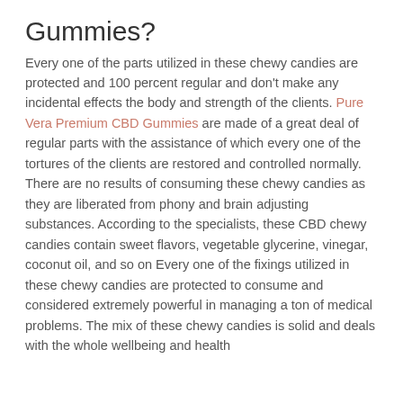Gummies?
Every one of the parts utilized in these chewy candies are protected and 100 percent regular and don't make any incidental effects the body and strength of the clients. Pure Vera Premium CBD Gummies are made of a great deal of regular parts with the assistance of which every one of the tortures of the clients are restored and controlled normally. There are no results of consuming these chewy candies as they are liberated from phony and brain adjusting substances. According to the specialists, these CBD chewy candies contain sweet flavors, vegetable glycerine, vinegar, coconut oil, and so on Every one of the fixings utilized in these chewy candies are protected to consume and considered extremely powerful in managing a ton of medical problems. The mix of these chewy candies is solid and deals with the whole wellbeing and health